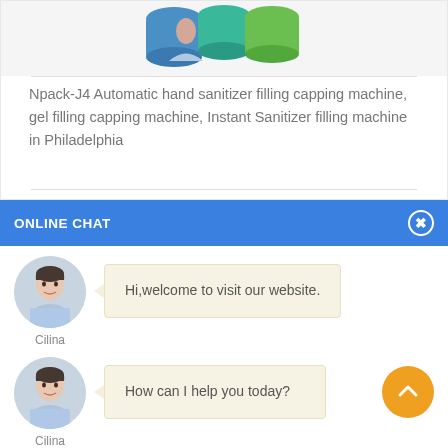[Figure (photo): Product image showing colorful jar tops (blue, teal, green) of hand sanitizer/gel containers against a light background]
Npack-J4 Automatic hand sanitizer filling capping machine, gel filling capping machine, Instant Sanitizer filling machine in Philadelphia
ONLINE CHAT
[Figure (photo): Avatar photo of a woman named Cilina in a light blue shirt]
Cilina
Hi,welcome to visit our website.
[Figure (photo): Avatar photo of a woman named Cilina in a light blue shirt]
Cilina
How can I help you today?